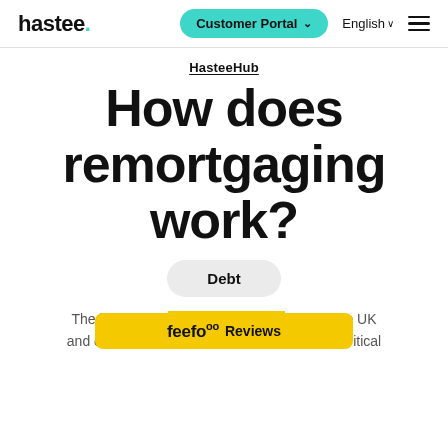hastee. Customer Portal English ≡
HasteeHub
How does remortgaging work?
Debt
The largest priv… pany in the UK and one of the r… business-critical